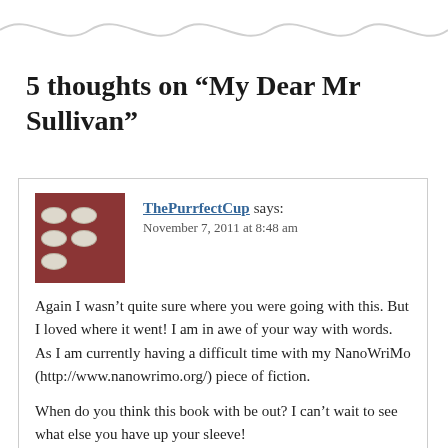5 thoughts on “My Dear Mr Sullivan”
ThePurrfectCup says:
November 7, 2011 at 8:48 am

Again I wasn’t quite sure where you were going with this. But I loved where it went! I am in awe of your way with words. As I am currently having a difficult time with my NanoWriMo (http://www.nanowrimo.org/) piece of fiction.

When do you think this book with be out? I can’t wait to see what else you have up your sleeve!